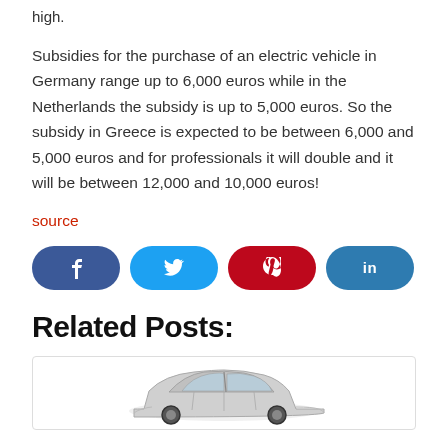high.
Subsidies for the purchase of an electric vehicle in Germany range up to 6,000 euros while in the Netherlands the subsidy is up to 5,000 euros. So the subsidy in Greece is expected to be between 6,000 and 5,000 euros and for professionals it will double and it will be between 12,000 and 10,000 euros!
source
[Figure (infographic): Social share buttons: Facebook (dark blue), Twitter (light blue), Pinterest (red), LinkedIn (teal)]
Related Posts:
[Figure (photo): A silver Tesla Model 3 car shown from the side in a white card/box]